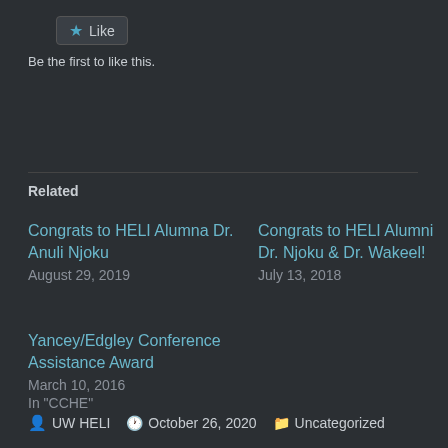[Figure (other): Like button with star icon]
Be the first to like this.
Related
Congrats to HELI Alumna Dr. Anuli Njoku
August 29, 2019
Congrats to HELI Alumni Dr. Njoku & Dr. Wakeel!
July 13, 2018
Yancey/Edgley Conference Assistance Award
March 10, 2016
In "CCHE"
UW HELI   October 26, 2020   Uncategorized